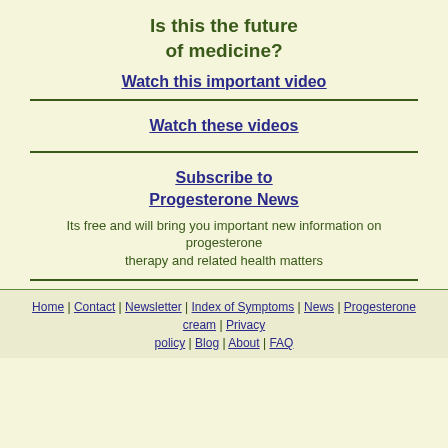Is this the future of medicine?
Watch this important video
Watch these videos
Subscribe to Progesterone News
Its free and will bring you important new information on progesterone therapy and related health matters
Home | Contact | Newsletter | Index of Symptoms | News | Progesterone cream | Privacy policy | Blog | About | FAQ